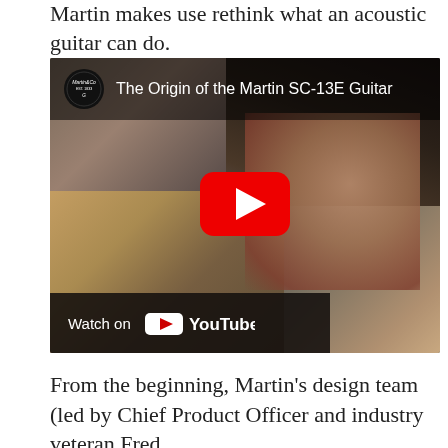Martin makes use rethink what an acoustic guitar can do.
[Figure (screenshot): YouTube video thumbnail showing a man looking down, with Martin guitar logo and title 'The Origin of the Martin SC-13E Guitar', red YouTube play button in center, and 'Watch on YouTube' bar at bottom left.]
From the beginning, Martin's design team (led by Chief Product Officer and industry veteran Fred